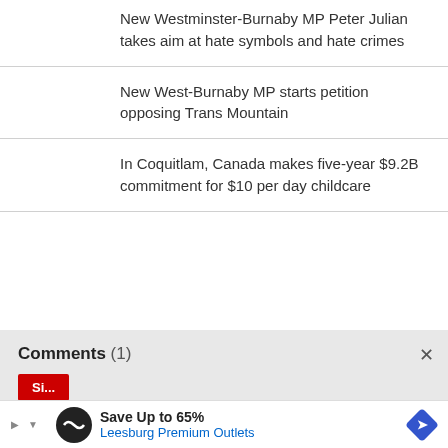New Westminster-Burnaby MP Peter Julian takes aim at hate symbols and hate crimes
New West-Burnaby MP starts petition opposing Trans Mountain
In Coquitlam, Canada makes five-year $9.2B commitment for $10 per day childcare
Comments (1)
Save Up to 65% Leesburg Premium Outlets